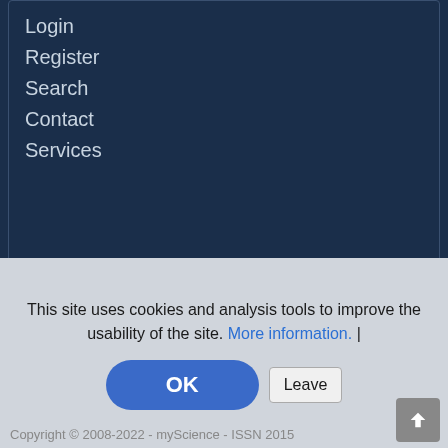Login
Register
Search
Contact
Services
CONNECT
facebook
linkedIN
twitter
myScience Network: Austria | Belgium | Canada |
This site uses cookies and analysis tools to improve the usability of the site. More information. |
OK
Leave
Copyright © 2008-2022 - myScience - ISSN 2015